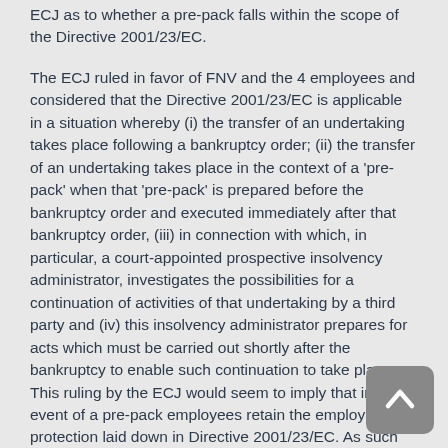ECJ as to whether a pre-pack falls within the scope of the Directive 2001/23/EC.
The ECJ ruled in favor of FNV and the 4 employees and considered that the Directive 2001/23/EC is applicable in a situation whereby (i) the transfer of an undertaking takes place following a bankruptcy order; (ii) the transfer of an undertaking takes place in the context of a 'pre-pack' when that 'pre-pack' is prepared before the bankruptcy order and executed immediately after that bankruptcy order, (iii) in connection with which, in particular, a court-appointed prospective insolvency administrator, investigates the possibilities for a continuation of activities of that undertaking by a third party and (iv) this insolvency administrator prepares for acts which must be carried out shortly after the bankruptcy to enable such continuation to take place. This ruling by the ECJ would seem to imply that in the event of a pre-pack employees retain the employment protection laid down in Directive 2001/23/EC. As such this ECJ ruling marks the end of the pre-pack as an